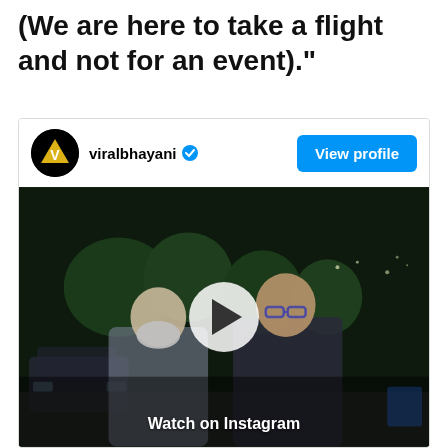(We are here to take a flight and not for an event)."
[Figure (screenshot): Instagram embed card showing profile 'viralbhayani' with a verified badge and a 'View profile' button, with a video thumbnail below showing two people at night near a parking area with a play button overlay and 'Watch on Instagram' label.]